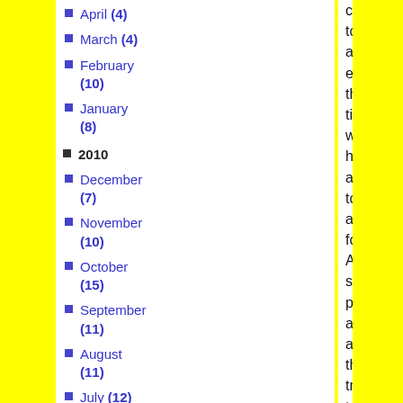April (4)
March (4)
February (10)
January (8)
2010
December (7)
November (10)
October (15)
September (11)
August (11)
July (12)
control, to an extent, the time we have available to apply force.  A shot put athlete, as they try to throw further, has to throw faster, reducing the time they have available.

We can put on a bigger gear, if we're strong enough to push it, to go faster and keep the time available constant, or even increase it, for a given speed.  This is why you'll see riders like Shane Perkins and Anna Meares pushing big gears, while "weaker" riders like Vicky Pendleton, Theo Boss and the like will push smaller gears, faster.  We can optimise our cadence with gear selection to